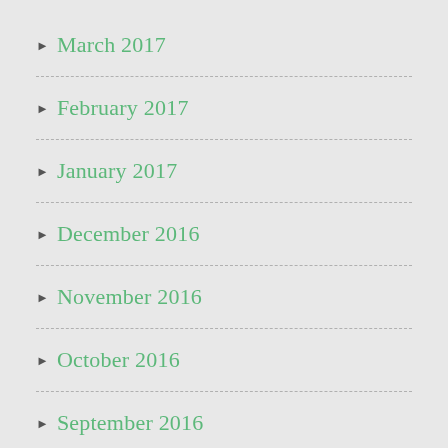March 2017
February 2017
January 2017
December 2016
November 2016
October 2016
September 2016
August 2016